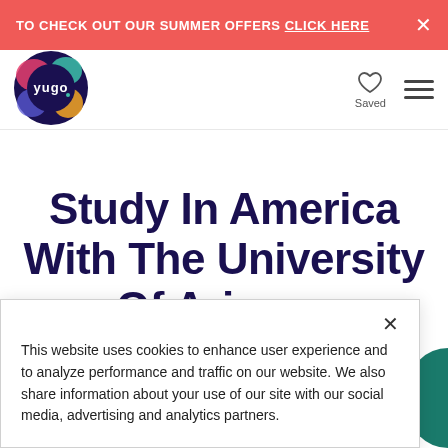TO CHECK OUT OUR SUMMER OFFERS CLICK HERE ×
[Figure (logo): Yugo brand logo — colorful circular logo with 'yugo' text in white on dark background, with colorful shapes around it]
Study In America With The University Of Arizona
This website uses cookies to enhance user experience and to analyze performance and traffic on our website. We also share information about your use of our site with our social media, advertising and analytics partners.